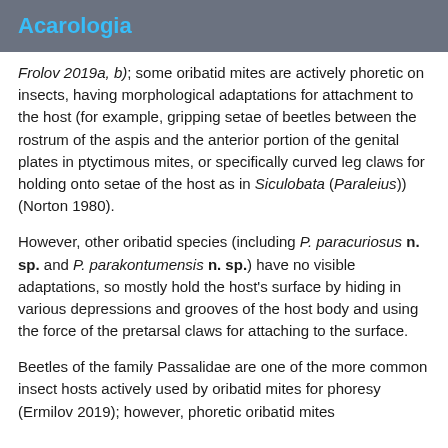Acarologia
Frolov 2019a, b); some oribatid mites are actively phoretic on insects, having morphological adaptations for attachment to the host (for example, gripping setae of beetles between the rostrum of the aspis and the anterior portion of the genital plates in ptyctimous mites, or specifically curved leg claws for holding onto setae of the host as in Siculobata (Paraleius)) (Norton 1980).
However, other oribatid species (including P. paracuriosus n. sp. and P. parakontumensis n. sp.) have no visible adaptations, so mostly hold the host's surface by hiding in various depressions and grooves of the host body and using the force of the pretarsal claws for attaching to the surface.
Beetles of the family Passalidae are one of the more common insect hosts actively used by oribatid mites for phoresy (Ermilov 2019); however, phoretic oribatid mites